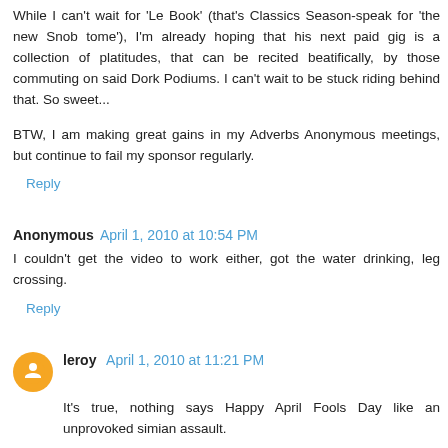While I can't wait for 'Le Book' (that's Classics Season-speak for 'the new Snob tome'), I'm already hoping that his next paid gig is a collection of platitudes, that can be recited beatifically, by those commuting on said Dork Podiums. I can't wait to be stuck riding behind that. So sweet...
BTW, I am making great gains in my Adverbs Anonymous meetings, but continue to fail my sponsor regularly.
Reply
Anonymous   April 1, 2010 at 10:54 PM
I couldn't get the video to work either, got the water drinking, leg crossing.
Reply
leroy   April 1, 2010 at 11:21 PM
It's true, nothing says Happy April Fools Day like an unprovoked simian assault.